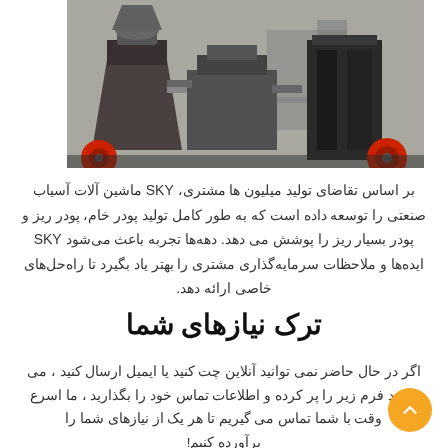[Figure (photo): Industrial grinding/milling machinery photographed outdoors on a rooftop or industrial site, showing large cone crusher and rectangular box-shaped machines with red wheels/components]
بر اساس تقاضای تولید میلیون ها مشتری، SKY ماشین آلات آسیاب صنعتی را توسعه داده است که به طور کامل تولید پودر خام، پودر ریز و پودر بسیار ریز را پوشش می دهد. دهه‌ها تجربه باعث می‌شود SKY ایده‌ها و ملاحظات سرمایه‌گذاری مشتری را بهتر یاد بگیرد تا راه‌حل‌های خاصی ارائه دهد.
ترک نیازهای شما
اگر در حال حاضر نمی توانید آنلاین چت کنید یا ایمیل ارسال کنید ، می توانید فرم زیر را پر کرده و اطلاعات تماس خود را بگذارید ، ما اسرع وقت با شما تماس می گیریم تا هر یک از نیازهای شما را برآورده کنیم!